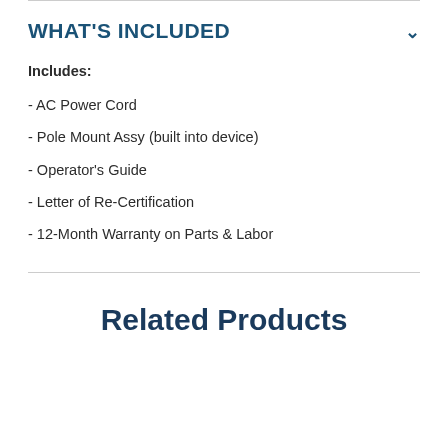WHAT'S INCLUDED
Includes:
- AC Power Cord
- Pole Mount Assy (built into device)
- Operator's Guide
- Letter of Re-Certification
- 12-Month Warranty on Parts & Labor
Related Products